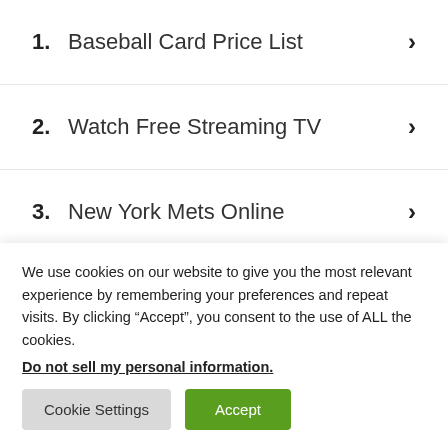1. Baseball Card Price List
2. Watch Free Streaming TV
3. New York Mets Online
We use cookies on our website to give you the most relevant experience by remembering your preferences and repeat visits. By clicking “Accept”, you consent to the use of ALL the cookies.
Do not sell my personal information.
Cookie Settings | Accept